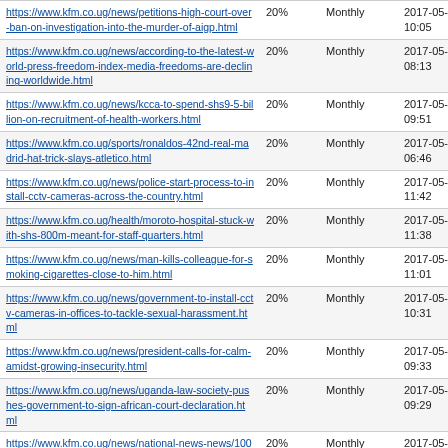| URL | Priority | Change Frequency | Last Modified |
| --- | --- | --- | --- |
| https://www.kfm.co.ug/news/petitions-high-court-over-ban-on-investigation-into-the-murder-of-aigp.html | 20% | Monthly | 2017-05-03 10:05 |
| https://www.kfm.co.ug/news/according-to-the-latest-world-press-freedom-index-media-freedoms-are-declining-worldwide.html | 20% | Monthly | 2017-05-03 08:13 |
| https://www.kfm.co.ug/news/kcca-to-spend-shs9-5-billion-on-recruitment-of-health-workers.html | 20% | Monthly | 2017-05-03 09:51 |
| https://www.kfm.co.ug/sports/ronaldos-42nd-real-madrid-hat-trick-slays-atletico.html | 20% | Monthly | 2017-05-03 06:46 |
| https://www.kfm.co.ug/news/police-start-process-to-install-cctv-cameras-across-the-country.html | 20% | Monthly | 2017-05-02 11:42 |
| https://www.kfm.co.ug/health/moroto-hospital-stuck-with-shs-800m-meant-for-staff-quarters.html | 20% | Monthly | 2017-05-02 11:38 |
| https://www.kfm.co.ug/news/man-kills-colleague-for-smoking-cigarettes-close-to-him.html | 20% | Monthly | 2017-05-02 11:01 |
| https://www.kfm.co.ug/news/government-to-install-cctv-cameras-in-offices-to-tackle-sexual-harassment.html | 20% | Monthly | 2017-05-02 10:31 |
| https://www.kfm.co.ug/news/president-calls-for-calm-amidst-growing-insecurity.html | 20% | Monthly | 2017-05-02 09:33 |
| https://www.kfm.co.ug/news/uganda-law-society-pushes-government-to-sign-african-court-declaration.html | 20% | Monthly | 2017-05-02 09:29 |
| https://www.kfm.co.ug/news/national-news-news/10000-liters-of-army-worm-pesticide-expected-this-week.html | 20% | Monthly | 2017-05-02 07:38 |
| https://www.kfm.co.ug/news/president-museveni-lauded-on-law-to-limit-drinking-hours.html | 20% | Monthly | 2017-05-02 07:29 |